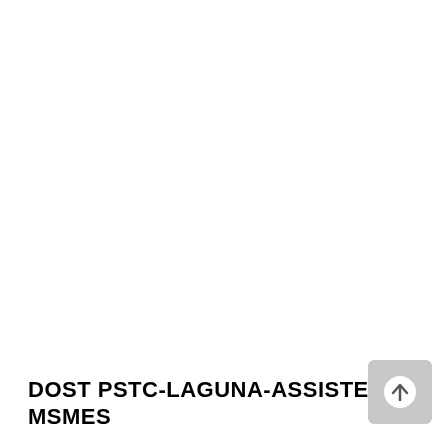DOST PSTC-LAGUNA-ASSISTED MSMES
[Figure (other): Scroll-to-top button: a circular upward arrow icon on a light grey rounded rectangle background, positioned at the bottom-right corner of the page.]